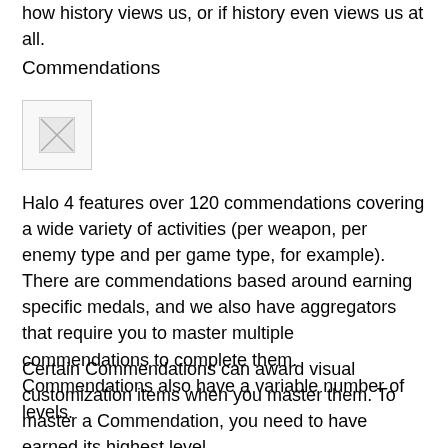how history views us, or if history even views us at all.
Commendations
[Figure (illustration): Small image placeholder with broken image icon]
Halo 4 features over 120 commendations covering a wide variety of activities (per weapon, per enemy type and per game type, for example). There are commendations based around earning specific medals, and we also have aggregators that require you to master multiple commendations to complete them. Commendations also have a variable number of levels.
Certain Commendations can award visual customization items when you master them. To master a Commendation, you need to have earned its highest level.
We see the Commendation system as the long-term progression with the most exclusive items. Most players will